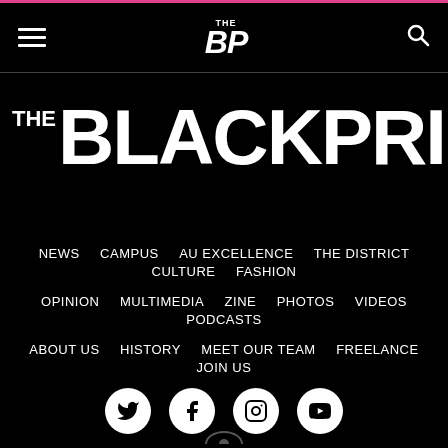THE BP — navigation header with hamburger menu and search icon
THE BLACKPRINT
NEWS   CAMPUS   AU EXCELLENCE   THE DISTRICT   CULTURE   FASHION
OPINION   MULTIMEDIA   ZINE   PHOTOS   VIDEOS   PODCASTS
ABOUT US   HISTORY   MEET OUR TEAM   FREELANCE   JOIN US
[Figure (infographic): Social media icons row: Twitter, Facebook, Instagram, YouTube — white icons in white circles on black background]